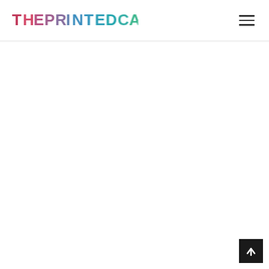THE PRINTED CAT
[Figure (logo): THE PRINTED CAT logo in colorful hand-drawn style lettering with multicolor letters]
[Figure (other): Hamburger menu icon (three horizontal lines) in top right corner]
[Figure (other): Back to top button - black square with white upward arrow, bottom right corner]